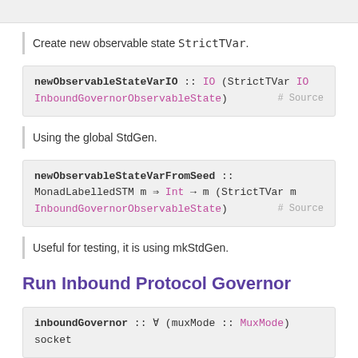Create new observable state StrictTVar.
newObservableStateVarIO :: IO (StrictTVar IO InboundGovernorObservableState)  # Source
Using the global StdGen.
newObservableStateVarFromSeed :: MonadLabelledSTM m => Int -> m (StrictTVar m InboundGovernorObservableState)  # Source
Useful for testing, it is using mkStdGen.
Run Inbound Protocol Governor
inboundGovernor :: forall (muxMode :: MuxMode) socket